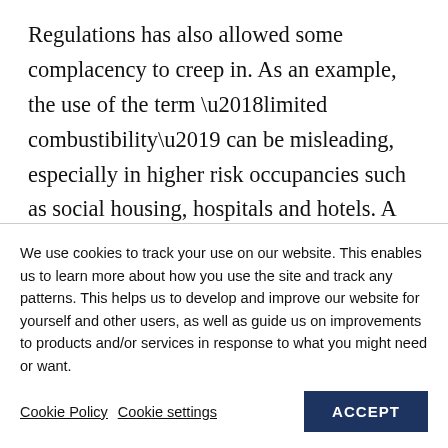Regulations has also allowed some complacency to creep in. As an example, the use of the term ‘limited combustibility’ can be misleading, especially in higher risk occupancies such as social housing, hospitals and hotels. A guarantee of ‘evacuation before collapse’ might be an aspect of
We use cookies to track your use on our website. This enables us to learn more about how you use the site and track any patterns. This helps us to develop and improve our website for yourself and other users, as well as guide us on improvements to products and/or services in response to what you might need or want.
Cookie Policy  Cookie settings  ACCEPT